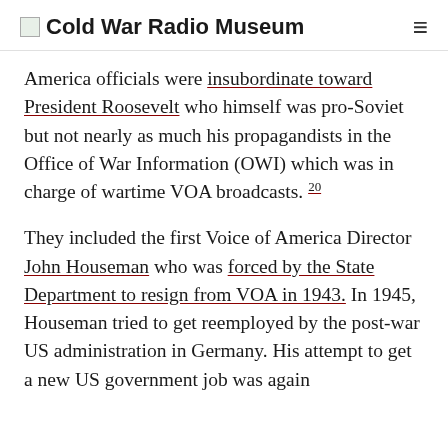Cold War Radio Museum
America officials were insubordinate toward President Roosevelt who himself was pro-Soviet but not nearly as much his propagandists in the Office of War Information (OWI) which was in charge of wartime VOA broadcasts. 20
They included the first Voice of America Director John Houseman who was forced by the State Department to resign from VOA in 1943. In 1945, Houseman tried to get reemployed by the post-war US administration in Germany. His attempt to get a new US government job was again